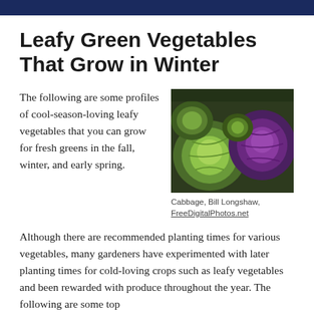Leafy Green Vegetables That Grow in Winter
The following are some profiles of cool-season-loving leafy vegetables that you can grow for fresh greens in the fall, winter, and early spring.
[Figure (photo): Close-up photo of green and purple cabbage heads]
Cabbage, Bill Longshaw, FreeDigitalPhotos.net
Although there are recommended planting times for various vegetables, many gardeners have experimented with later planting times for cold-loving crops such as leafy vegetables and been rewarded with produce throughout the year. The following are some top